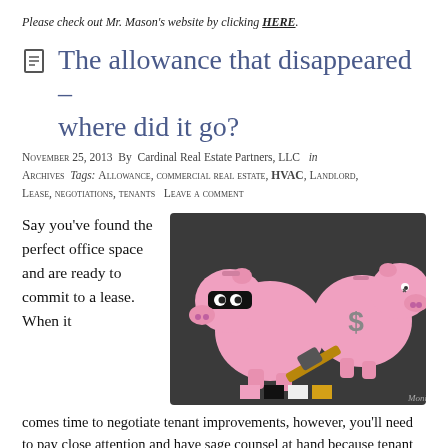Please check out Mr. Mason's website by clicking HERE.
The allowance that disappeared – where did it go?
November 25, 2013  By  Cardinal Real Estate Partners, LLC   in  Archives  Tags: Allowance, commercial real estate, HVAC, Landlord, Lease, negotiations, tenants   Leave a comment
Say you've found the perfect office space and are ready to commit to a lease. When it comes time to negotiate tenant improvements, however, you'll need to pay close attention and have sage counsel at hand because tenant improvements, including how much
[Figure (illustration): Two cartoon pink piggy banks on a dark background. The left piggy bank wears a black bandit mask and holds a hammer, appearing to threaten the right piggy bank which has a dollar sign on it. Color swatches (pink, black, white, gold) appear at the bottom.]